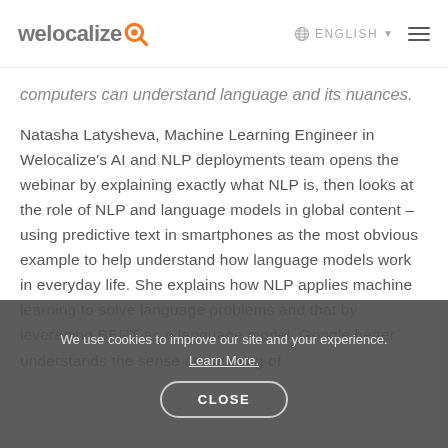welocalize ENGLISH
computers can understand language and its nuances.
Natasha Latysheva, Machine Learning Engineer in Welocalize's AI and NLP deployments team opens the webinar by explaining exactly what NLP is, then looks at the role of NLP and language models in global content – using predictive text in smartphones as the most obvious example to help understand how language models work in everyday life. She explains how NLP applies machine learning to solve language problems and that by leveraging BERT as a language model, Google better understands the sense or meaning of
We use cookies to improve our site and your experience. Learn More.
CLOSE